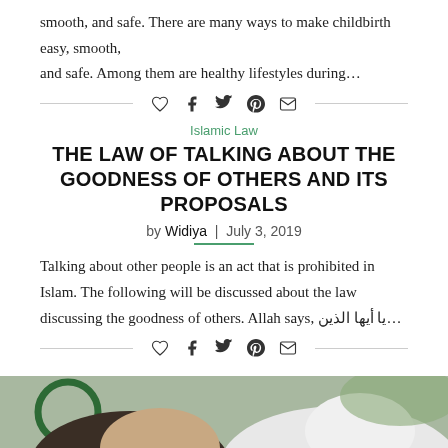smooth, and safe. There are many ways to make childbirth easy, smooth, and safe. Among them are healthy lifestyles during…
[social share icons: heart, facebook, twitter, pinterest, email]
Islamic Law
THE LAW OF TALKING ABOUT THE GOODNESS OF OTHERS AND ITS PROPOSALS
by Widiya | July 3, 2019
Talking about other people is an act that is prohibited in Islam. The following will be discussed about the law discussing the goodness of others. Allah says, يا أيها الذين…
[social share icons: heart, facebook, twitter, pinterest, email]
[Figure (photo): Photo of two women, one wearing a white hijab, with a green ring/hoop visible in the foreground]